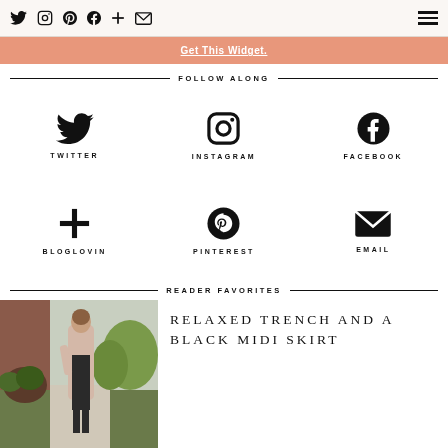Twitter Instagram Pinterest Facebook Bloglovin Email [hamburger menu]
Get This Widget.
FOLLOW ALONG
[Figure (infographic): Social media follow icons in a 2x3 grid: Twitter, Instagram, Facebook (top row), Bloglovin, Pinterest, Email (bottom row), each with icon and label below]
READER FAVORITES
[Figure (photo): Woman wearing a long pale pink trench coat over a black midi dress, standing on a sidewalk with greenery and brick house in background]
RELAXED TRENCH AND A BLACK MIDI SKIRT